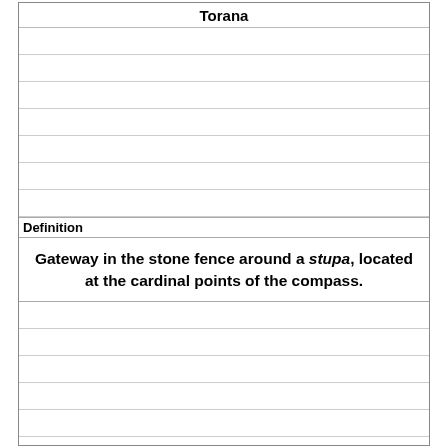Torana
Definition
Gateway in the stone fence around a stupa, located at the cardinal points of the compass.
Term